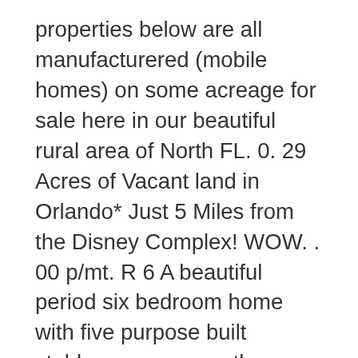properties below are all manufacturered (mobile homes) on some acreage for sale here in our beautiful rural area of North FL. 0. 29 Acres of Vacant land in Orlando* Just 5 Miles from the Disney Complex! WOW. . 00 p/mt. R 6 A beautiful period six bedroom home with five purpose built stables, numerous other outbuildings, walled orchard gardens, outdoor manege and 3. Browse thousands of listings for houses with land and acreage properties ranging from 1 acre to ,+. Hide Contact Share Map. Our land for sale comes from various city, county, and state government agencies along with other Find a property for sale in France. 5% in the past 12 months. Create home alerts & read Australian property market news on View 1 photos for Amboy Rd, Twentynine